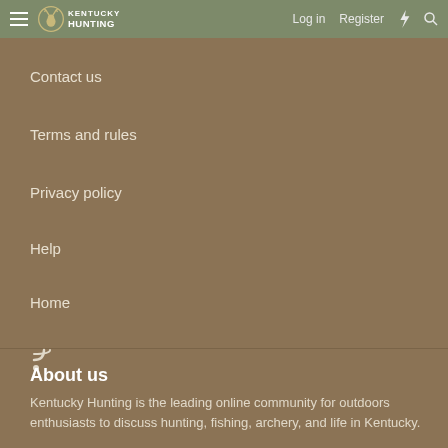Kentucky Hunting — Log in  Register
Contact us
Terms and rules
Privacy policy
Help
Home
[Figure (other): RSS feed icon]
About us
Kentucky Hunting is the leading online community for outdoors enthusiasts to discuss hunting, fishing, archery, and life in Kentucky.
Kentucky Hunting Features
Forums List